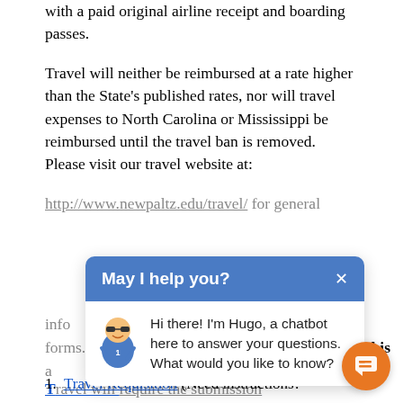with a paid original airline receipt and boarding passes.
Travel will neither be reimbursed at a rate higher than the State's published rates, nor will travel expenses to North Carolina or Mississippi be reimbursed until the travel ban is removed. Please visit our travel website at: http://www.newpaltz.edu/travel/ for general information, rates, and reimbursement forms. Meals are not reimbursable under this award.
Travel will require the submission of the following forms:
Travel Requisition (Need instructions?